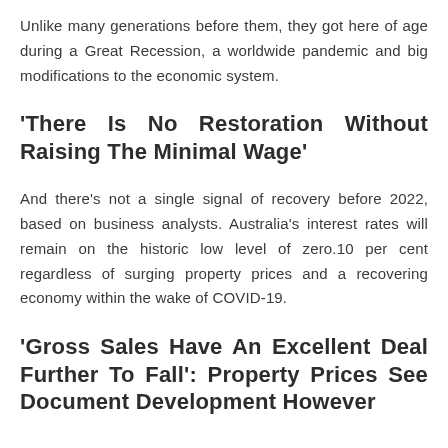Unlike many generations before them, they got here of age during a Great Recession, a worldwide pandemic and big modifications to the economic system.
‘There Is No Restoration Without Raising The Minimal Wage’
And there’s not a single signal of recovery before 2022, based on business analysts. Australia’s interest rates will remain on the historic low level of zero.10 per cent regardless of surging property prices and a recovering economy within the wake of COVID-19.
‘Gross Sales Have An Excellent Deal Further To Fall’: Property Prices See Document Development However